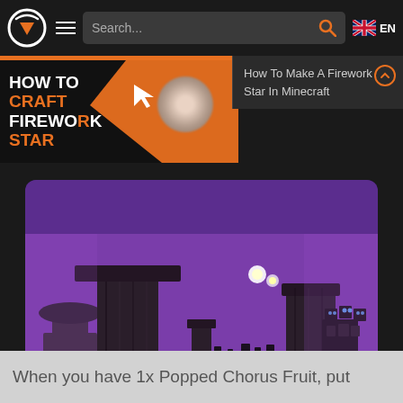Search... EN
How To Make A Firework Star In Minecraft
[Figure (screenshot): Website thumbnail card showing HOW TO CRAFT FIREWORK STAR text with orange arrow graphic and firework star item image on dark background]
[Figure (screenshot): Minecraft End dimension scene showing tall dark obsidian/chorus plant columns on sandy ground with purple End Stone background, glowing entities visible, and a Wither boss on right side]
When you have 1x Popped Chorus Fruit, put